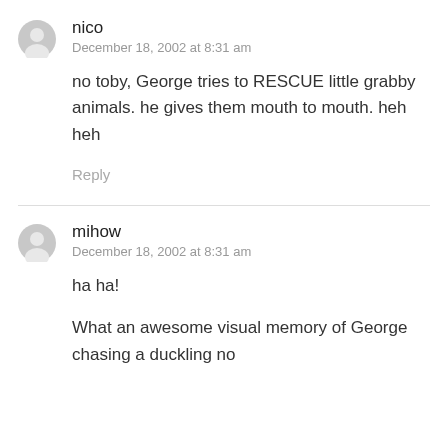nico
December 18, 2002 at 8:31 am
no toby, George tries to RESCUE little grabby animals. he gives them mouth to mouth. heh heh
Reply
mihow
December 18, 2002 at 8:31 am
ha ha!
What an awesome visual memory of George chasing a duckling no